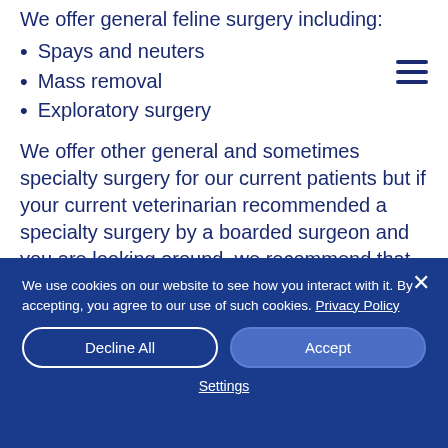We offer general feline surgery including:
Spays and neuters
Mass removal
Exploratory surgery
We offer other general and sometimes specialty surgery for our current patients but if your current veterinarian recommended a specialty surgery by a boarded surgeon and you are looking around, we recommend that you go to a
We use cookies on our website to see how you interact with it. By accepting, you agree to our use of such cookies. Privacy Policy
Decline All
Accept
Settings